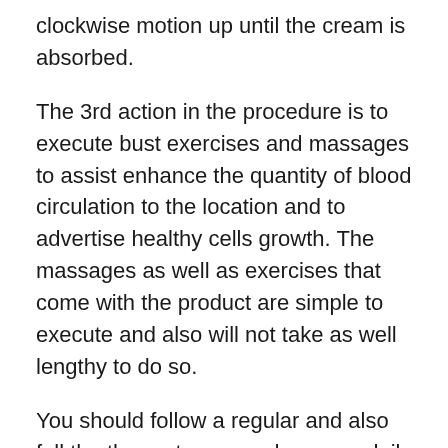clockwise motion up until the cream is absorbed.
The 3rd action in the procedure is to execute bust exercises and massages to assist enhance the quantity of blood circulation to the location and to advertise healthy cells growth. The massages as well as exercises that come with the product are simple to execute and also will not take as well lengthy to do so.
You should follow a regular and also full the three-step procedure on a daily basis the same way throughout the whole therapy duration for the very best results.
Is Breast Actives Safe?